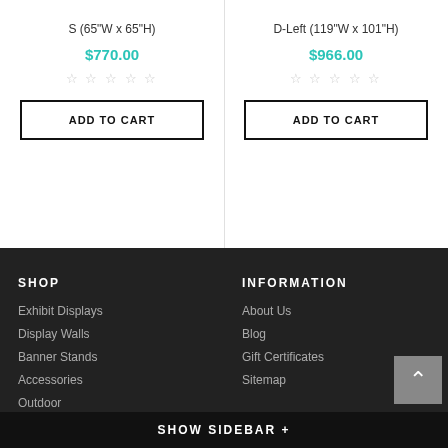S (65"W x 65"H)
$770.00
☆☆☆☆☆
ADD TO CART
D-Left (119"W x 101"H)
$966.00
☆☆☆☆☆
ADD TO CART
SHOP
Exhibit Displays
Display Walls
Banner Stands
Accessories
Outdoor
Digital
INFORMATION
About Us
Blog
Gift Certificates
Sitemap
SHOW SIDEBAR +